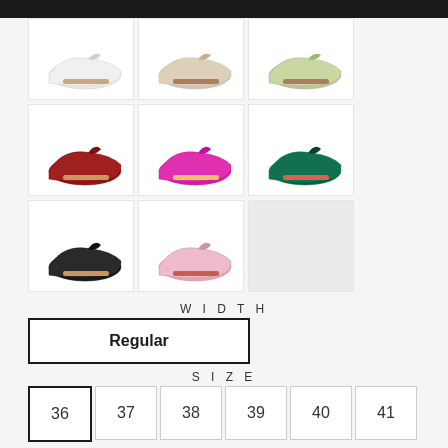[Figure (photo): Grid of 8 flat loafer shoes in various colors: white, beige, light green (top row); red/burgundy, metallic pink/fuchsia, dark green (middle row); black, light pink (bottom row). One empty cell in bottom right.]
WIDTH
Regular
SIZE
36  37  38  39  40  41